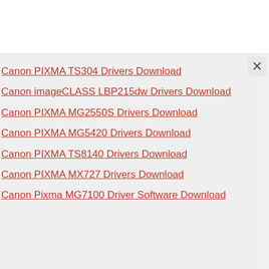Canon PIXMA TS304 Drivers Download
Canon imageCLASS LBP215dw Drivers Download
Canon PIXMA MG2550S Drivers Download
Canon PIXMA MG5420 Drivers Download
Canon PIXMA TS8140 Drivers Download
Canon PIXMA MX727 Drivers Download
Canon Pixma MG7100 Driver Software Download